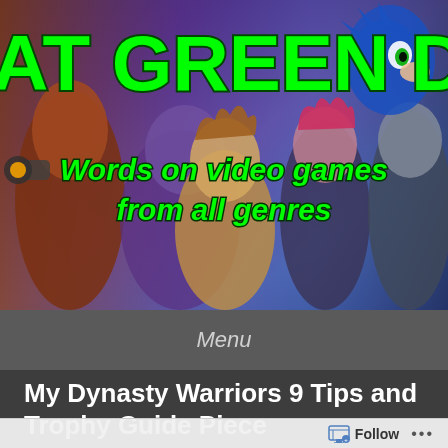[Figure (illustration): Gaming blog header banner with video game characters (Sonic, Sora from Kingdom Hearts, a pink-haired female character, Ratchet, and others) on a purple/blue background]
AT GREEN DU
Words on video games from all genres
Menu
My Dynasty Warriors 9 Tips and Trophy Guide Piece
Follow